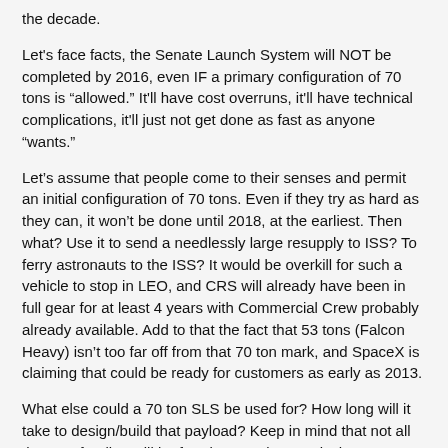the decade.
Let's face facts, the Senate Launch System will NOT be completed by 2016, even IF a primary configuration of 70 tons is “allowed.” It'll have cost overruns, it'll have technical complications, it'll just not get done as fast as anyone “wants.”
Let’s assume that people come to their senses and permit an initial configuration of 70 tons. Even if they try as hard as they can, it won’t be done until 2018, at the earliest. Then what? Use it to send a needlessly large resupply to ISS? To ferry astronauts to the ISS? It would be overkill for such a vehicle to stop in LEO, and CRS will already have been in full gear for at least 4 years with Commercial Crew probably already available. Add to that the fact that 53 tons (Falcon Heavy) isn’t too far off from that 70 ton mark, and SpaceX is claiming that could be ready for customers as early as 2013.
What else could a 70 ton SLS be used for? How long will it take to design/build that payload? Keep in mind that not all the SLS funding will be freed up, work towards the 130 ton configuration will take at least a large chunk of it, plus the cost for “using” it in the mean time. I guess I have to admit that’s the only fair argument for going straight for the 130 ton, because by the time we can